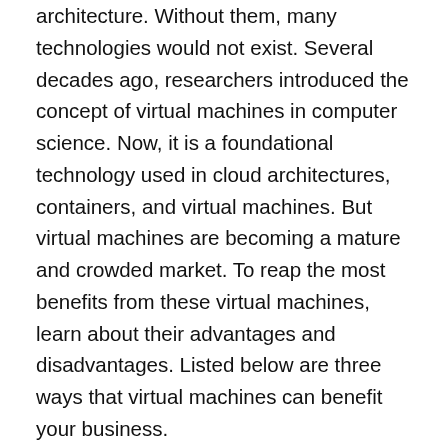architecture. Without them, many technologies would not exist. Several decades ago, researchers introduced the concept of virtual machines in computer science. Now, it is a foundational technology used in cloud architectures, containers, and virtual machines. But virtual machines are becoming a mature and crowded market. To reap the most benefits from these virtual machines, learn about their advantages and disadvantages. Listed below are three ways that virtual machines can benefit your business.
Hypervisors
As the name implies, hypervisors are programs that isolate problems inside virtual machines. IBM invented hypervisors for their mainframe computers